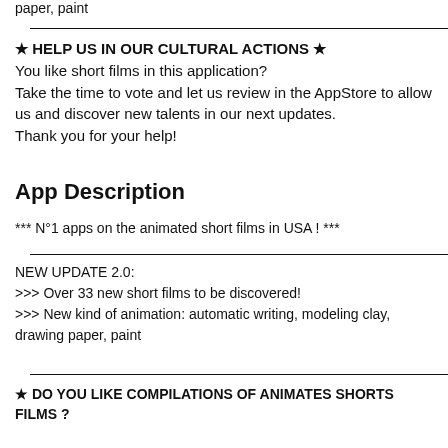paper, paint
★ HELP US IN OUR CULTURAL ACTIONS ★
You like short films in this application?
Take the time to vote and let us review in the AppStore to allow us and discover new talents in our next updates.
Thank you for your help!
App Description
*** N°1 apps on the animated short films in USA ! ***
NEW UPDATE 2.0:
>>> Over 33 new short films to be discovered!
>>> New kind of animation: automatic writing, modeling clay, drawing paper, paint
★ DO YOU LIKE COMPILATIONS OF ANIMATES SHORTS FILMS ?